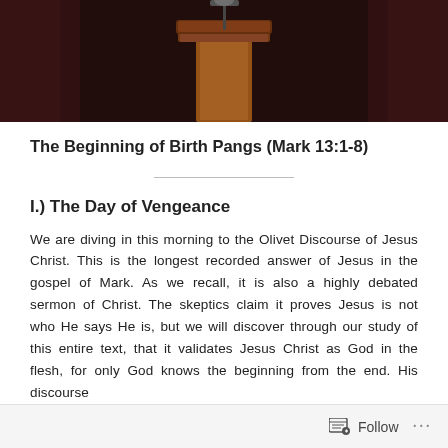[Figure (photo): Photo of a church pulpit/podium in a dimly lit sanctuary with dark curtains in the background]
The Beginning of Birth Pangs (Mark 13:1-8)
I.) The Day of Vengeance
We are diving in this morning to the Olivet Discourse of Jesus Christ. This is the longest recorded answer of Jesus in the gospel of Mark. As we recall, it is also a highly debated sermon of Christ. The skeptics claim it proves Jesus is not who He says He is, but we will discover through our study of this entire text, that it validates Jesus Christ as God in the flesh, for only God knows the beginning from the end. His discourse warns us of the things to come
Follow ...